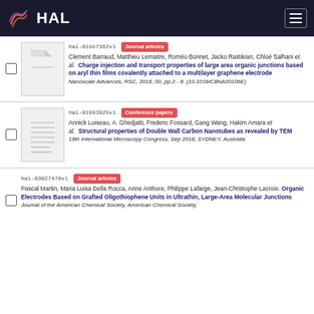HAL
hal-01887362v1 Journal articles
Clement Barraud, Matthieu Lemaitre, Roméo Bonnet, Jacko Rastikian, Chloé Salhani et al. Charge injection and transport properties of large area organic junctions based on aryl thin films covalently attached to a multilayer graphene electrode
Nanoscale Advances, RSC, 2018, 00, pp.2 - 8. (10.1039/C8NA00106E)
hal-01993925v1 Conference papers
Annick Loiseau, A. Ghedjatti, Frederic Fossard, Gang Wang, Hakim Amara et al. Structural properties of Double Wall Carbon Nanotubes as revealed by TEM
19th International Microscopy Congress, Sep 2018, SYDNEY, Australia
hal-03027479v1 Journal articles
Pascal Martin, Maria Luisa Della Rocca, Anne Anthore, Philippe Lafarge, Jean-Christophe Lacroix. Organic Electrodes Based on Grafted Oligothiophene Units in Ultrathin, Large-Area Molecular Junctions
Journal of the American Chemical Society, American Chemical Society,